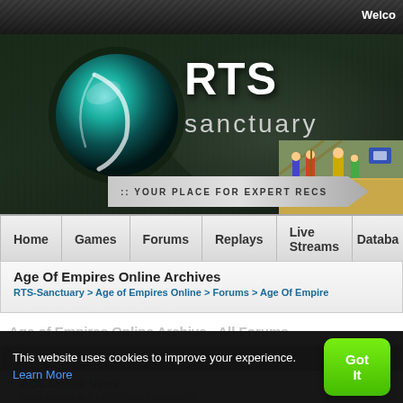Welcome
[Figure (screenshot): RTS Sanctuary website header with globe logo, RTS Sanctuary branding, game art strip, and 'Your Place for Expert Recs' tagline banner]
Home | Games | Forums | Replays | Live Streams | Database
Age Of Empires Online Archives
RTS-Sanctuary > Age of Empires Online > Forums > Age Of Empires Online Archives
Age of Empires Online Archives - All Forums
| Forum |
| --- |
| AOE Online News |
| News relating to the AOE Online community. |
This website uses cookies to improve your experience. Learn More